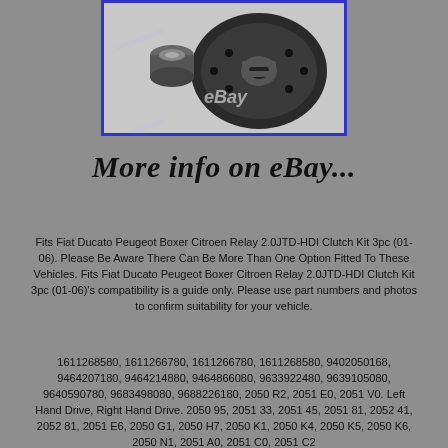[Figure (photo): Product photo of a clutch kit showing a clutch disc and bearing on a white background, with eBay watermark and blue border frame]
More info on eBay...
Fits Fiat Ducato Peugeot Boxer Citroen Relay 2.0JTD-HDI Clutch Kit 3pc (01-06). Please Be Aware There Can Be More Than One Option Fitted To These Vehicles. Fits Fiat Ducato Peugeot Boxer Citroen Relay 2.0JTD-HDI Clutch Kit 3pc (01-06)'s compatibility is a guide only. Please use part numbers and photos to confirm suitability for your vehicle.
1611268580, 1611266780, 1611266780, 1611268580, 9402050168, 9464207180, 9464214880, 9464866080, 9633922480, 9639105080, 9640590780, 9683498080, 9688226180, 2050 R2, 2051 E0, 2051 V0. Left Hand Drive, Right Hand Drive. 2050 95, 2051 33, 2051 45, 2051 81, 2052 41, 2052 81, 2051 E6, 2050 G1, 2050 H7, 2050 K1, 2050 K4, 2050 K5, 2050 K6, 2050 N1, 2051 A0, 2051 C0, 2051 C2